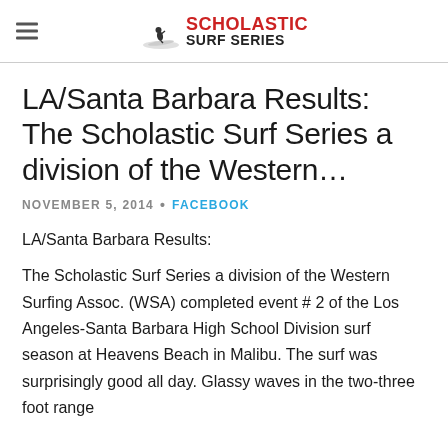Scholastic Surf Series
LA/Santa Barbara Results: The Scholastic Surf Series a division of the Western…
NOVEMBER 5, 2014 • FACEBOOK
LA/Santa Barbara Results:
The Scholastic Surf Series a division of the Western Surfing Assoc. (WSA) completed event # 2 of the Los Angeles-Santa Barbara High School Division surf season at Heavens Beach in Malibu. The surf was surprisingly good all day. Glassy waves in the two-three foot range